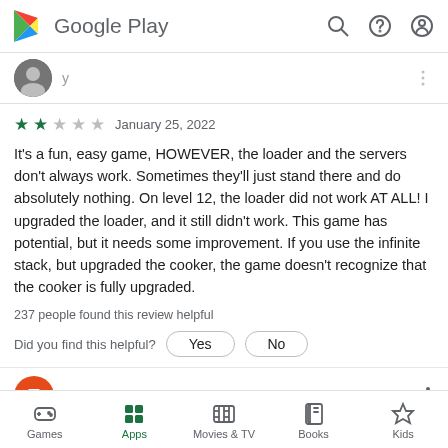Google Play
[Figure (screenshot): Partially visible review row with avatar and cropped username]
★★ January 25, 2022
It's a fun, easy game, HOWEVER, the loader and the servers don't always work. Sometimes they'll just stand there and do absolutely nothing. On level 12, the loader did not work AT ALL! I upgraded the loader, and it still didn't work. This game has potential, but it needs some improvement. If you use the infinite stack, but upgraded the cooker, the game doesn't recognize that the cooker is fully upgraded.
237 people found this review helpful
Did you find this helpful?
Elizabeth Denman
Games  Apps  Movies & TV  Books  Kids